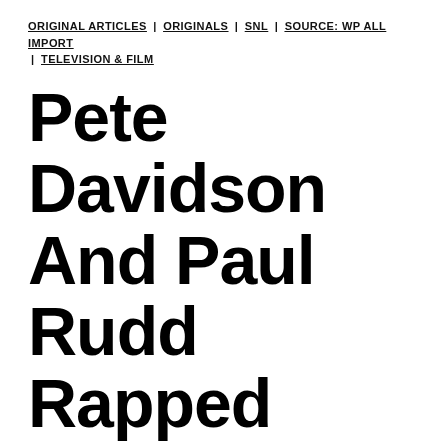ORIGINAL ARTICLES | ORIGINALS | SNL | SOURCE: WP ALL IMPORT | TELEVISION & FILM
Pete Davidson And Paul Rudd Rapped About How Much They Love 'Grace And